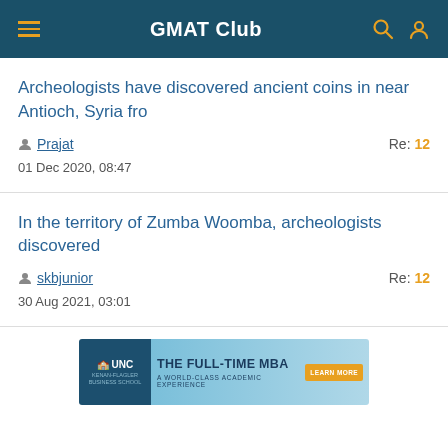GMAT Club
Archeologists have discovered ancient coins in near Antioch, Syria fro
Prajat   Re: 12
01 Dec 2020, 08:47
In the territory of Zumba Woomba, archeologists discovered
skbjunior   Re: 12
30 Aug 2021, 03:01
[Figure (infographic): UNC Kenan-Flagler Business School advertisement banner reading THE FULL-TIME MBA A WORLD-CLASS ACADEMIC EXPERIENCE with LEARN MORE button]